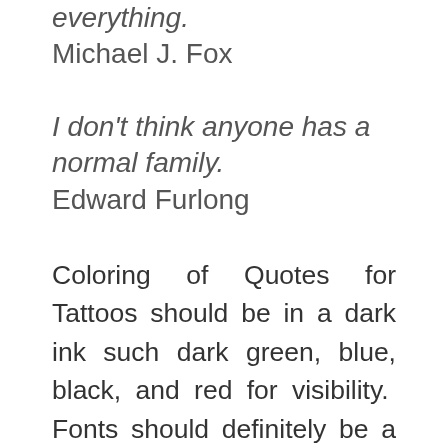everything.
Michael J. Fox
I don't think anyone has a normal family.
Edward Furlong
Coloring of Quotes for Tattoos should be in a dark ink such dark green, blue, black, and red for visibility.  Fonts should definitely be a consideration.  Have fun with this; there are fonts to choose from you are sure to find one that matches the genre of quotation that you've chosen.  If you select other patterns or designs as backgrounds for your quotations for tattoos, select a color that